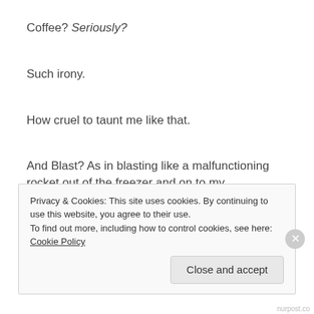Coffee? Seriously?
Such irony.
How cruel to taunt me like that.
And Blast? As in blasting like a malfunctioning rocket out of the freezer and on to my unsuspecting appendages?
Tally:
Privacy & Cookies: This site uses cookies. By continuing to use this website, you agree to their use.
To find out more, including how to control cookies, see here: Cookie Policy
Close and accept